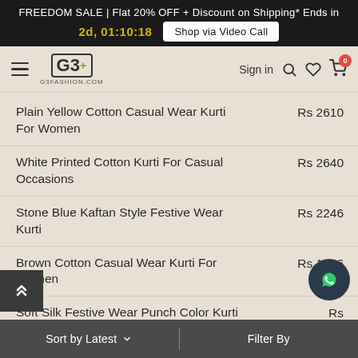FREEDOM SALE | Flat 20% OFF + Discount on Shipping* Ends in 2d, 01:10:18  Shop via Video Call
[Figure (screenshot): G3Fashion website navigation bar with hamburger menu, G3+ logo, Sign in link, search icon, heart/wishlist icon, and cart icon with badge showing 0]
Plain Yellow Cotton Casual Wear Kurti For Women — Rs 2610
White Printed Cotton Kurti For Casual Occasions — Rs 2640
Stone Blue Kaftan Style Festive Wear Kurti — Rs 2246
Brown Cotton Casual Wear Kurti For Women — Rs 1756
Soft Silk Festive Wear Punch Color Kurti — Rs [partially visible]
Crepe Printed Casual [partially visible] — Rs 1526
Sort by Latest ∨   |   Filter By